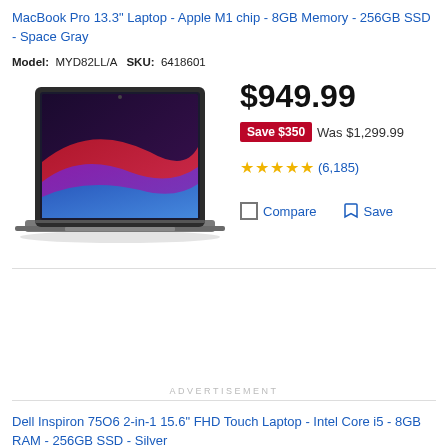MacBook Pro 13.3" Laptop - Apple M1 chip - 8GB Memory - 256GB SSD - Space Gray
Model: MYD82LL/A   SKU: 6418601
[Figure (photo): MacBook Pro laptop shown open with colorful wave wallpaper on screen, Space Gray color, front-facing view]
$949.99
Save $350  Was $1,299.99
★★★★★ (6,185)
Compare  Save
ADVERTISEMENT
Dell Inspiron 75O6 2-in-1 15.6" FHD Touch Laptop - Intel Core i5 - 8GB RAM - 256GB SSD - Silver